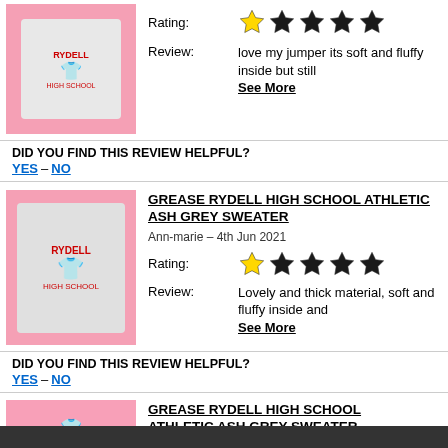Rating: (5 stars shown, 1 highlighted yellow)
Review: love my jumper its soft and fluffy inside but still See More
DID YOU FIND THIS REVIEW HELPFUL? YES – NO
[Figure (photo): Grease Rydell High School Athletic Ash Grey Sweater product photo on pink background]
GREASE RYDELL HIGH SCHOOL ATHLETIC ASH GREY SWEATER
Ann-marie – 4th Jun 2021
Rating: (5 stars shown, 1 highlighted yellow)
Review: Lovely and thick material, soft and fluffy inside and See More
DID YOU FIND THIS REVIEW HELPFUL? YES – NO
[Figure (photo): Grease Rydell High School Athletic Ash Grey Sweater product photo on pink background (partial)]
GREASE RYDELL HIGH SCHOOL ATHLETIC ASH GREY SWEATER